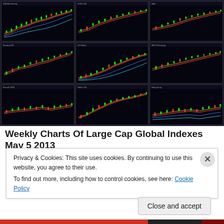[Figure (screenshot): 3x3 grid of financial trading charts showing large cap global indexes - weekly candlestick/line charts with moving averages on dark backgrounds, green candlesticks visible on black backgrounds]
Weekly Charts Of Large Cap Global Indexes May 5 2013
Privacy & Cookies: This site uses cookies. By continuing to use this website, you agree to their use.
To find out more, including how to control cookies, see here: Cookie Policy